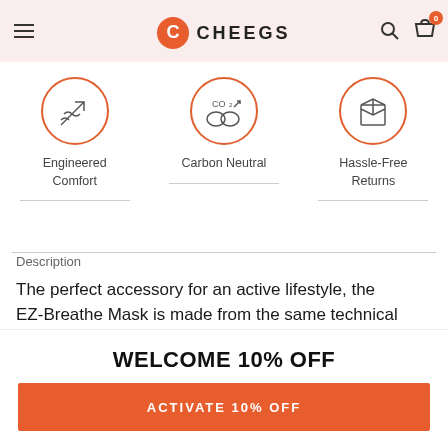ADD TO CART
[Figure (logo): Cheegs logo with orange C icon and CHEEGS text, navigation icons including search, basket with badge 0]
[Figure (infographic): Three feature icons in orange circles: Engineered Comfort (arrows/waves icon), Carbon Neutral (CO2 icon), Hassle-Free Returns (box icon)]
Description
The perfect accessory for an active lifestyle, the EZ-Breathe Mask is made from the same technical fabric as our shirts. The proprietary construction of this mask provides a perfect balance between comfort and
WELCOME 10% OFF
ACTIVATE 10% OFF